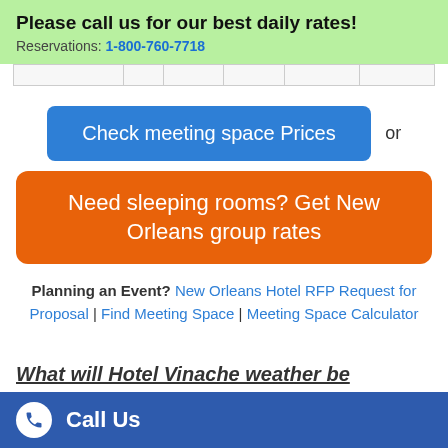Please call us for our best daily rates!
Reservations: 1-800-760-7718
[Figure (table-as-image): Partial table row with column dividers visible at the top of main content area]
Check meeting space Prices or
Need sleeping rooms? Get New Orleans group rates
Planning an Event? New Orleans Hotel RFP Request for Proposal | Find Meeting Space | Meeting Space Calculator
What will Hotel Vinache weather be
Call Us